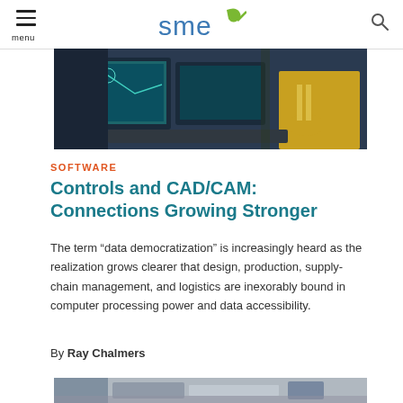SME
[Figure (photo): Person in yellow high-visibility jacket working at a computer with CAD software displayed on dual monitors]
SOFTWARE
Controls and CAD/CAM: Connections Growing Stronger
The term “data democratization” is increasingly heard as the realization grows clearer that design, production, supply-chain management, and logistics are inexorably bound in computer processing power and data accessibility.
By Ray Chalmers
[Figure (photo): Industrial machinery or manufacturing equipment, partially visible at bottom of page]